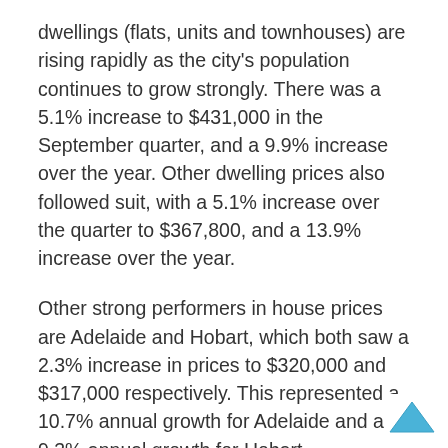dwellings (flats, units and townhouses) are rising rapidly as the city's population continues to grow strongly. There was a 5.1% increase to $431,000 in the September quarter, and a 9.9% increase over the year. Other dwelling prices also followed suit, with a 5.1% increase over the quarter to $367,800, and a 13.9% increase over the year.
Other strong performers in house prices are Adelaide and Hobart, which both saw a 2.3% increase in prices to $320,000 and $317,000 respectively. This represented a 10.7% annual growth for Adelaide and a 9.3% annual growth for Hobart.
The market is steadier in Sydney and Perth, although these two cities have the highest prices for houses in Australia. After several quarters of lacklustre prices in Sydney, there has been a modest recovery this